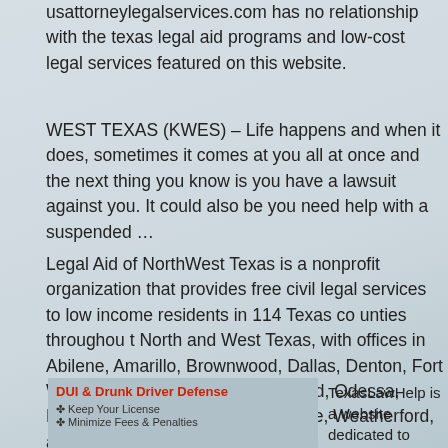usattorneylegalservices.com has no relationship with the texas legal aid programs and low-cost legal services featured on this website.
WEST TEXAS (KWES) – Life happens and when it does, sometimes it comes at you all at once and the next thing you know is you have a lawsuit against you. It could also be you need help with a suspended …
Legal Aid of NorthWest Texas is a nonprofit organization that provides free civil legal services to low income residents in 114 Texas co unties throughou t North and West Texas, with offices in Abilene, Amarillo, Brownwood, Dallas, Denton, Fort Worth, Lubbock, McKinney, Midland, Odessa, Plainview, San Angelo, Waxahachie, Weatherford, and …
[Figure (screenshot): Screenshot of a DUI & Drunk Driver Defense webpage with red title text and bullet points including 'Keep Your License']
TexasLawHelp is a website dedicated to